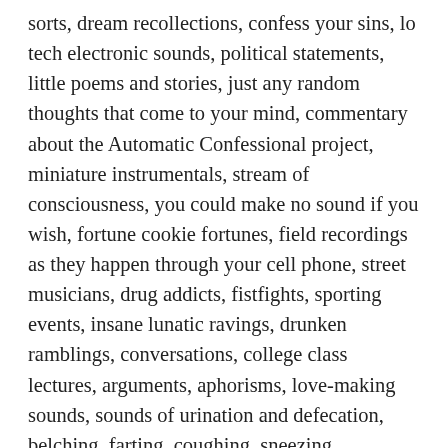sorts, dream recollections, confess your sins, lo tech electronic sounds, political statements, little poems and stories, just any random thoughts that come to your mind, commentary about the Automatic Confessional project, miniature instrumentals, stream of consciousness, you could make no sound if you wish, fortune cookie fortunes, field recordings as they happen through your cell phone, street musicians, drug addicts, fistfights, sporting events, insane lunatic ravings, drunken ramblings, conversations, college class lectures, arguments, aphorisms, love-making sounds, sounds of urination and defecation, belching, farting, coughing, sneezing, hiccuping, stomach-rumbling, sounds of children and pets, machine sounds of all sorts, automobile sounds, public transportation sounds, subway, trains, buses, taxis, tunnels, interstate highways, industrial and factory sounds, advertisements, sounds from markets and shops and stores and restaurants and slaughterhouses, political protests, riots, demonstrations, townhall meetings, carnivals, circus, street preachers, drug and weapons deals